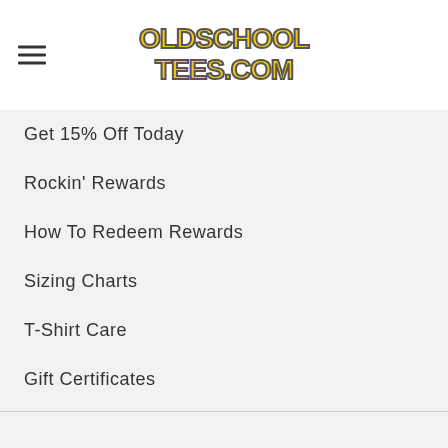[Figure (logo): OldSchoolTees.com logo with yellow bubble letters and dark outline]
Get 15% Off Today
Rockin' Rewards
How To Redeem Rewards
Sizing Charts
T-Shirt Care
Gift Certificates
Guitar Resources